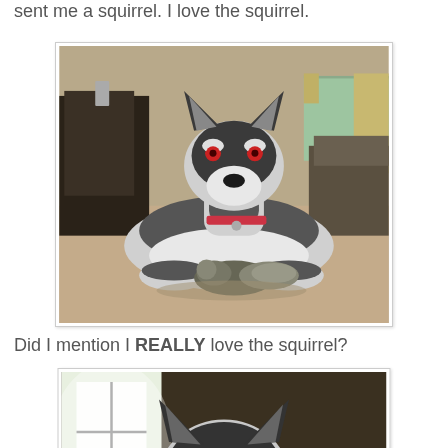sent me a squirrel. I love the squirrel.
[Figure (photo): A Siberian Husky dog lying on a carpet, holding a squirrel between its front paws. The dog has striking features with what appears to be red-eye effect. The room behind shows furniture and curtains.]
Did I mention I REALLY love the squirrel?
[Figure (photo): Close-up of a Siberian Husky dog lying down, looking directly at the camera with a squirrel visible near its front paws. The image is slightly blurred with a bright window in the background.]